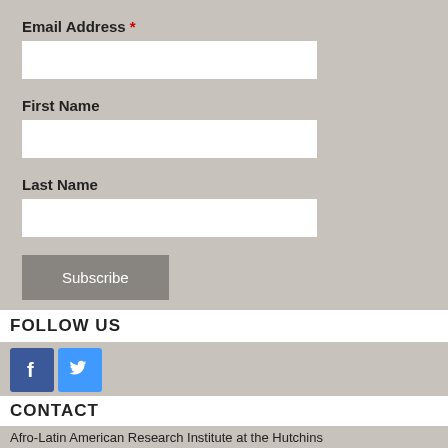Email Address *
[Figure (other): Email address text input field (white rectangle)]
First Name
[Figure (other): First name text input field (white rectangle)]
Last Name
[Figure (other): Last name text input field (white rectangle)]
Subscribe
FOLLOW US
[Figure (logo): Facebook icon (blue square with white f)]
[Figure (logo): Twitter icon (blue square with white bird)]
CONTACT
Afro-Latin American Research Institute at the Hutchins